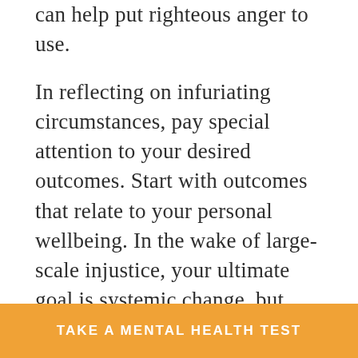can help put righteous anger to use.

In reflecting on infuriating circumstances, pay special attention to your desired outcomes. Start with outcomes that relate to your personal wellbeing. In the wake of large-scale injustice, your ultimate goal is systemic change, but talking about your anger might bring you the peace you need to continue fighting. Letting things out and processing tough emotions may help you cope with your anger, while you work toward the change that can heal it.

Lastly, do not let your anger compound by
TAKE A MENTAL HEALTH TEST